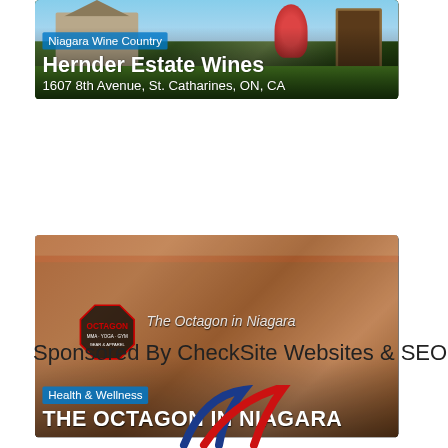[Figure (screenshot): Hernder Estate Wines listing card showing winery photo with green landscape, trees, and building. Tag reads 'Niagara Wine Country'. Title: Hernder Estate Wines. Address: 1607 8th Avenue, St. Catharines, ON, CA]
[Figure (screenshot): The Octagon In Niagara listing card showing a website screenshot with MMA fighters. Tag reads 'Health & Wellness'. Title: THE OCTAGON IN NIAGARA]
Sponsored By CheckSite Websites & SEO
[Figure (logo): CheckSite logo with blue and red swoosh marks partially visible at bottom of page]